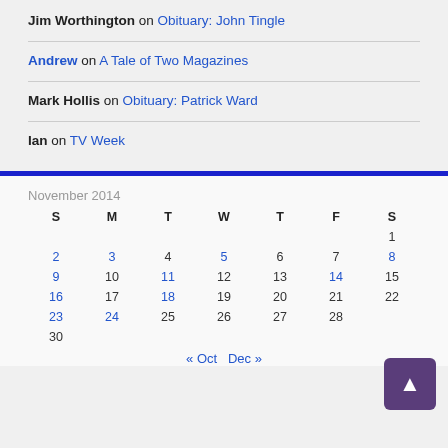Jim Worthington on Obituary: John Tingle
Andrew on A Tale of Two Magazines
Mark Hollis on Obituary: Patrick Ward
Ian on TV Week
November 2014
| S | M | T | W | T | F | S |
| --- | --- | --- | --- | --- | --- | --- |
|  |  |  |  |  |  | 1 |
| 2 | 3 | 4 | 5 | 6 | 7 | 8 |
| 9 | 10 | 11 | 12 | 13 | 14 | 15 |
| 16 | 17 | 18 | 19 | 20 | 21 | 22 |
| 23 | 24 | 25 | 26 | 27 | 28 |  |
| 30 |  |  |  |  |  |  |
« Oct   Dec »